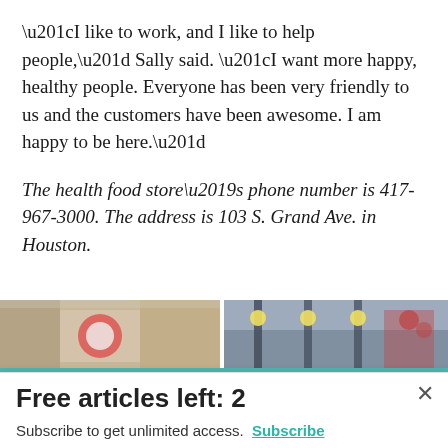“I like to work, and I like to help people,” Sally said. “I want more happy, healthy people. Everyone has been very friendly to us and the customers have been awesome. I am happy to be here.”
The health food store’s phone number is 417-967-3000. The address is 103 S. Grand Ave. in Houston.
[Figure (photo): Two side-by-side interior photos of a health food store. Left photo shows store interior with decorative items. Right photo shows a counter or display area with hanging lights and decorative flowers.]
Free articles left: 2
Subscribe to get unlimited access. Subscribe
Already have an account? Login here